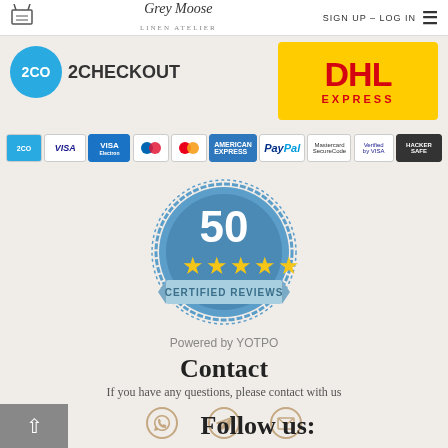Grey Moose Linen Atelier — SIGN UP – LOG IN
[Figure (logo): 2Checkout logo: blue circle with '2CO' text and '2CHECKOUT' text beside it]
[Figure (logo): DHL EXPRESS logo on yellow background]
[Figure (infographic): Row of payment method icons: 2CO, VISA, VISA Electron, Maestro, Mastercard, American Express, PayPal, Mastercard SecureCode, Verified by VISA, Hacker Safe]
[Figure (infographic): Blue seal badge showing '50' with 5 gold stars and text 'CERTIFIED REVIEWS']
Powered by YOTPO
Contact
If you have any questions, please contact with us
[Figure (infographic): Three contact icons: WhatsApp, Telegram, Email]
Follow us: